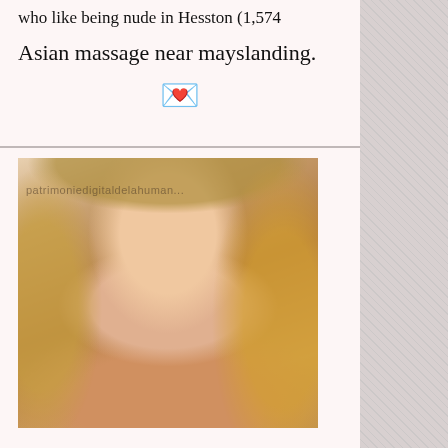who like being nude in Hesston (1,574
Asian massage near mayslanding.
[Figure (photo): Emoji: love letter / heart emoji (💌)]
[Figure (photo): Portrait photo of a young woman with long wavy blonde/brown hair, smiling, with watermark text 'patrimoniedigitaldelahuman...']